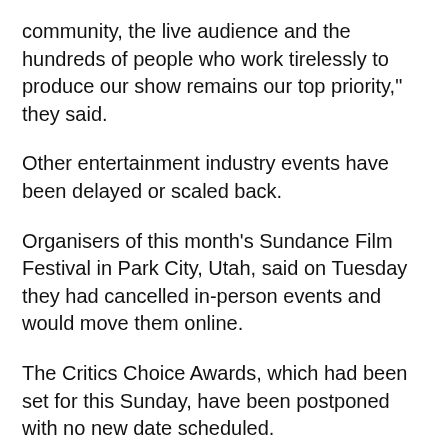community, the live audience and the hundreds of people who work tirelessly to produce our show remains our top priority," they said.
Other entertainment industry events have been delayed or scaled back.
Organisers of this month's Sundance Film Festival in Park City, Utah, said on Tuesday they had cancelled in-person events and would move them online.
The Critics Choice Awards, which had been set for this Sunday, have been postponed with no new date scheduled.
More On This Topic
Jon Batiste leads Grammy nods; Billie Eilish up for album of the year